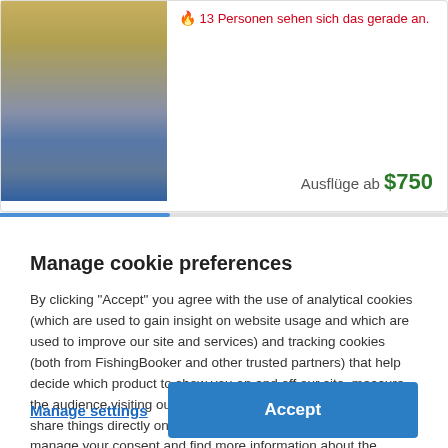[Figure (screenshot): Partial website card showing a fishing-related image on the left, a fire icon notice in German '13 Personen sehen sich das gerade an.' in red, and a price 'Ausflüge ab $750' in green.]
🔥 13 Personen sehen sich das gerade an.
Ausflüge ab $750
Manage cookie preferences
By clicking "Accept" you agree with the use of analytical cookies (which are used to gain insight on website usage and which are used to improve our site and services) and tracking cookies (both from FishingBooker and other trusted partners) that help decide which product to show you on and off our site, measure the audience visiting our websites, and enable you to like or share things directly on social media. By clicking here, you can manage your consent and find more information about the cookies we use.
Manage settings
Accept